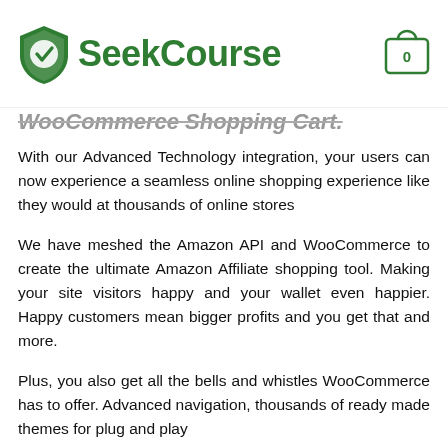SeekCourse
WooCommerce Shopping Cart.
With our Advanced Technology integration, your users can now experience a seamless online shopping experience like they would at thousands of online stores
We have meshed the Amazon API and WooCommerce to create the ultimate Amazon Affiliate shopping tool. Making your site visitors happy and your wallet even happier. Happy customers mean bigger profits and you get that and more.
Plus, you also get all the bells and whistles WooCommerce has to offer. Advanced navigation, thousands of ready made themes for plug and play